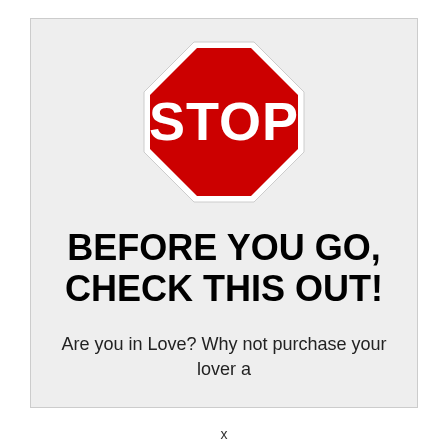[Figure (illustration): A red octagonal stop sign with white border and white bold text reading STOP]
BEFORE YOU GO, CHECK THIS OUT!
Are you in Love? Why not purchase your lover a